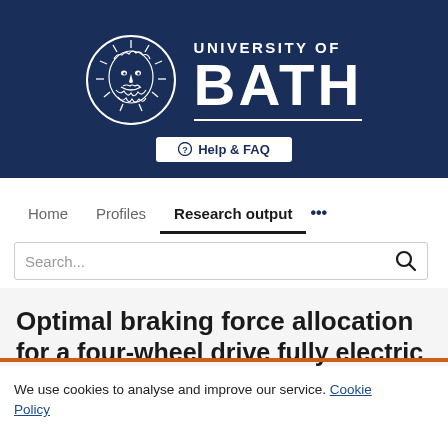[Figure (logo): University of Bath logo with circular emblem showing a bearded figure (sun face) and text UNIVERSITY OF BATH]
Help & FAQ
Home   Profiles   Research output   ...
Search...
Optimal braking force allocation for a four-wheel drive fully electric
We use cookies to analyse and improve our service. Cookie Policy